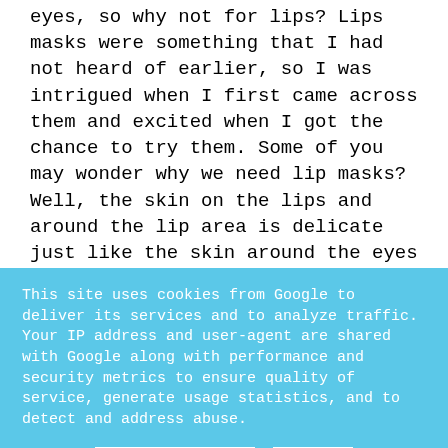There are sheet masks for the face, neck and eyes, so why not for lips? Lips masks were something that I had not heard of earlier, so I was intrigued when I first came across them and excited when I got the chance to try them. Some of you may wonder why we need lip masks? Well, the skin on the lips and around the lip area is delicate just like the skin around the eyes and needs some extra TLC. Lip masks are an excellent way to hydrate and nourish your lips.
This site uses cookies from Google to deliver its services and to analyze traffic. Your IP address and user-agent are shared with Google along with performance and security metrics to ensure quality of service, generate usage statistics, and to detect and address abuse.